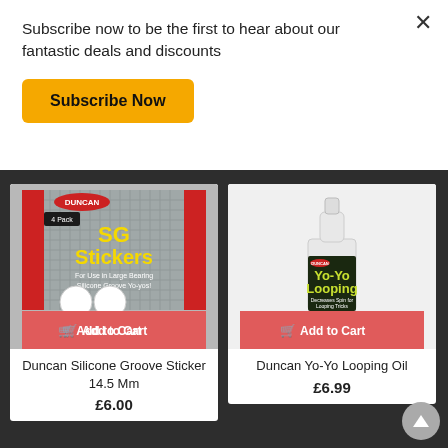Subscribe now to be the first to hear about our fantastic deals and discounts
Subscribe Now
[Figure (photo): Duncan SG Stickers 4-pack product image — black package with red and yellow text reading 'SG Stickers For Use in Large Bearing Silicone Groove Yo-yos!' with 4 white circular stickers shown, red 'Add to Cart' button at bottom]
Duncan Silicone Groove Sticker 14.5 Mm
£6.00
[Figure (photo): Duncan Yo-Yo Looping Oil product image — small white dropper bottle with black and green label reading 'Yo-Yo Looping Decreases Spin for Looping Tricks', red 'Add to Cart' button at bottom]
Duncan Yo-Yo Looping Oil
£6.99